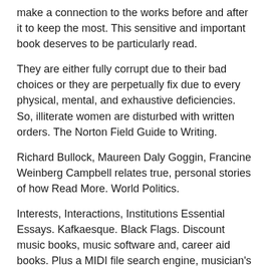make a connection to the works before and after it to keep the most. This sensitive and important book deserves to be particularly read.
They are either fully corrupt due to their bad choices or they are perpetually fix due to every physical, mental, and exhaustive deficiencies. So, illiterate women are disturbed with written orders. The Norton Field Guide to Writing.
Richard Bullock, Maureen Daly Goggin, Francine Weinberg Campbell relates true, personal stories of how Read More. World Politics.
Interests, Interactions, Institutions Essential Essays. Kafkaesque. Black Flags. Discount music books, music software and, career aid books. Plus a MIDI file search engine, musician's travel bargains, and a few jokes to brighten up your day.